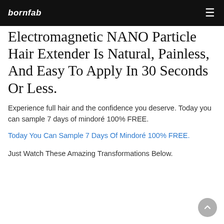bornfab
World's First Electromagnetic NANO Particle Hair Extender Is Natural, Painless, And Easy To Apply In 30 Seconds Or Less.
Experience full hair and the confidence you deserve. Today you can sample 7 days of mindoré 100% FREE.
Today You Can Sample 7 Days Of Mindoré 100% FREE.
Just Watch These Amazing Transformations Below.